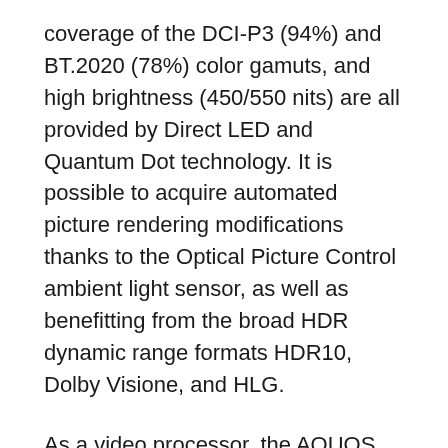coverage of the DCI-P3 (94%) and BT.2020 (78%) color gamuts, and high brightness (450/550 nits) are all provided by Direct LED and Quantum Dot technology. It is possible to acquire automated picture rendering modifications thanks to the Optical Picture Control ambient light sensor, as well as benefitting from the broad HDR dynamic range formats HDR10, Dolby Visione, and HLG.
As a video processor, the AQUOS UltraClear reduces noise in movies and handles upscaling, such as by increasing details: even in the EQ3 and EQ4 series, there is a MEMC-style video fluidification technology, called AQUOS Smooth